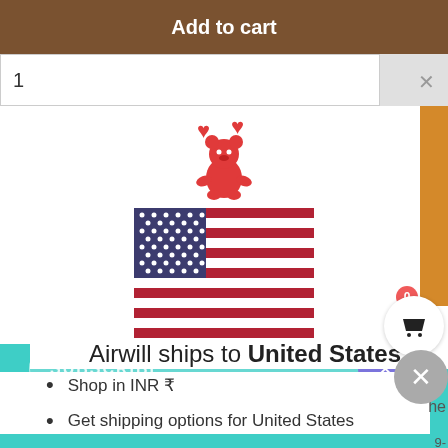Add to cart
1
[Figure (illustration): Red gummy bear emoji with two hearts above it, followed by a US flag illustration]
Airwill ships to United States
Shop in INR ₹
Get shipping options for United States
Shop now
SIGN UP
SUBSCRIBE